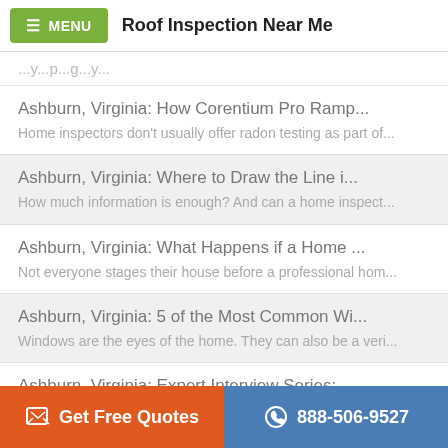MENU  Roof Inspection Near Me
...y...p...g...y...
Ashburn, Virginia: How Corentium Pro Ramp...
Home inspectors don't usually offer radon testing as part of...
Ashburn, Virginia: Where to Draw the Line i...
How much information is enough? And can a home inspect...
Ashburn, Virginia: What Happens if a Home ...
Not everyone stages their house before a professional hom...
Ashburn, Virginia: 5 of the Most Common Wi...
Windows are the eyes of the home. They can also be a veri...
Ashburn, Virginia: Expert Interview Series: ...
Mike Chamberlain is the owner and lead home inspector at ...
Get Free Quotes
888-506-9527